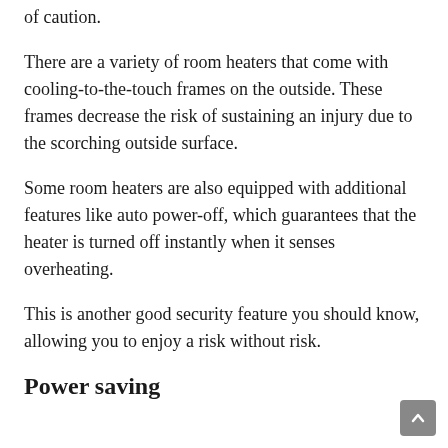of caution.
There are a variety of room heaters that come with cooling-to-the-touch frames on the outside. These frames decrease the risk of sustaining an injury due to the scorching outside surface.
Some room heaters are also equipped with additional features like auto power-off, which guarantees that the heater is turned off instantly when it senses overheating.
This is another good security feature you should know, allowing you to enjoy a risk without risk.
Power saving